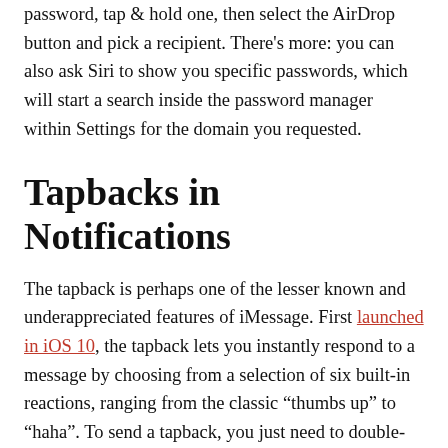password, tap & hold one, then select the AirDrop button and pick a recipient. There's more: you can also ask Siri to show you specific passwords, which will start a search inside the password manager within Settings for the domain you requested.
Tapbacks in Notifications
The tapback is perhaps one of the lesser known and underappreciated features of iMessage. First launched in iOS 10, the tapback lets you instantly respond to a message by choosing from a selection of six built-in reactions, ranging from the classic “thumbs up” to “haha”. To send a tapback, you just need to double-tap a message and pick